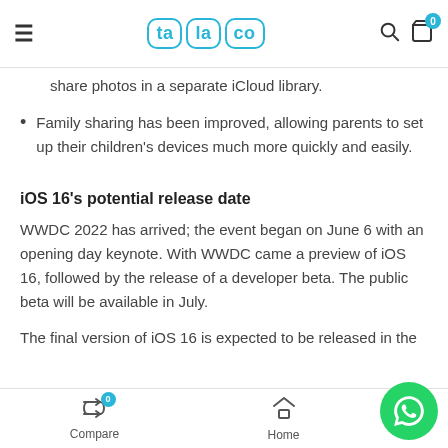talaco — navigation header with logo, search and cart icons
share photos in a separate iCloud library.
Family sharing has been improved, allowing parents to set up their children's devices much more quickly and easily.
iOS 16's potential release date
WWDC 2022 has arrived; the event began on June 6 with an opening day keynote. With WWDC came a preview of iOS 16, followed by the release of a developer beta. The public beta will be available in July.
The final version of iOS 16 is expected to be released in the
Compare  Home